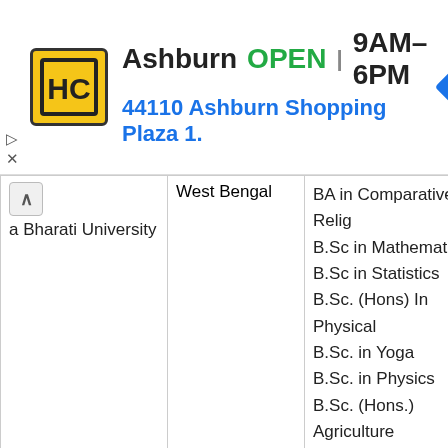[Figure (infographic): Advertisement banner: HC logo (yellow/black), 'Ashburn OPEN 9AM-6PM' and '44110 Ashburn Shopping Plaza 1.' with a blue navigation arrow icon]
| University | State | Programs |
| --- | --- | --- |
| a Bharati University | West Bengal | BA in Comparative Relig
B.Sc in Mathematics
B.Sc in Statistics
B.Sc. (Hons) In Physical
B.Sc. in Yoga
B.Sc. in Physics
B.Sc. (Hons.) Agriculture
B.A. in Persian (Prep)
B.A. in Bengali
B.A. in Chinese Languag (Prep)
B.A. in French
B.A. in German
B.A. in Italian
B.A. in Russian |